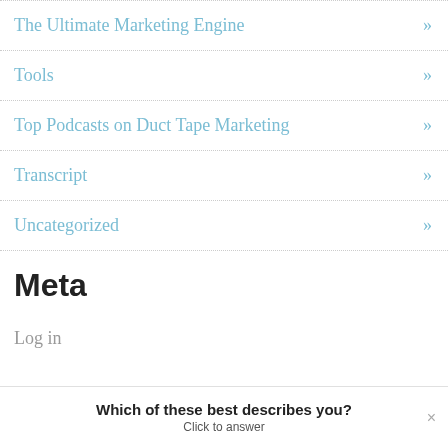The Ultimate Marketing Engine »
Tools »
Top Podcasts on Duct Tape Marketing »
Transcript »
Uncategorized »
Meta
Log in
Which of these best describes you?
Click to answer